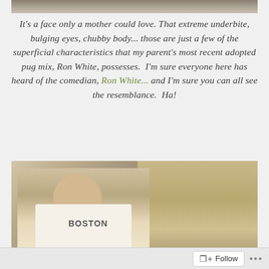[Figure (photo): Partial photo strip at top of page, appears to be cropped image of a dog or animal]
It's a face only a mother could love. That extreme underbite, bulging eyes, chubby body... those are just a few of the superficial characteristics that my parent's most recent adopted pug mix, Ron White, possesses.  I'm sure everyone here has heard of the comedian, Ron White... and I'm sure you can all see the resemblance. Ha!
[Figure (photo): Black and white / sepia photo of a heavyset man smiling, wearing a white Boston t-shirt, standing in a kitchen]
Follow ...